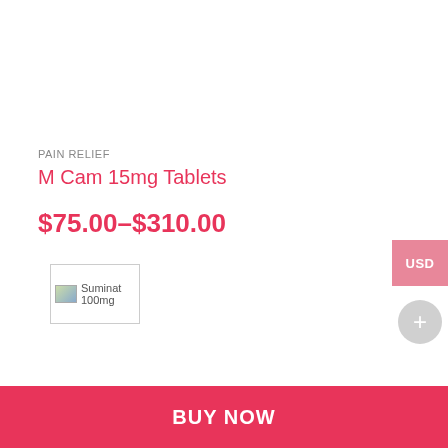PAIN RELIEF
M Cam 15mg Tablets
$75.00–$310.00
[Figure (photo): Product image placeholder for Suminat 100mg]
USD
+
BUY NOW